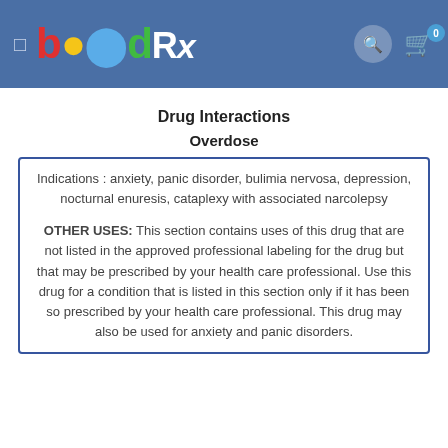bødRx — navigation header with logo, search, and cart
Drug Interactions
Overdose
Indications : anxiety, panic disorder, bulimia nervosa, depression, nocturnal enuresis, cataplexy with associated narcolepsy
OTHER USES: This section contains uses of this drug that are not listed in the approved professional labeling for the drug but that may be prescribed by your health care professional. Use this drug for a condition that is listed in this section only if it has been so prescribed by your health care professional. This drug may also be used for anxiety and panic disorders.